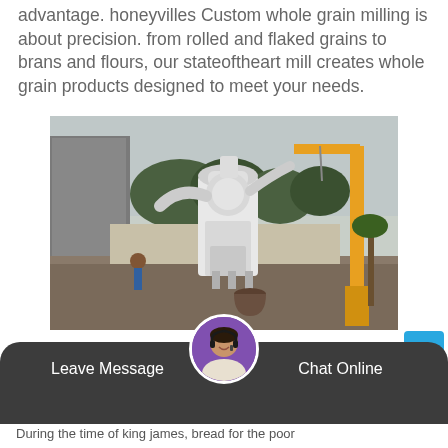advantage. Honeyvilles Custom whole grain milling is about precision. from rolled and flaked grains to brans and flours, our stateoftheart mill creates whole grain products designed to meet your needs.
[Figure (photo): Industrial grain milling equipment being installed outdoors, with a yellow crane on the right side and workers in the background near a wall with murals. A large white cylindrical mill machine is prominent in the center.]
A Brief History Of Milling – Grainmaker | Made
Leave Message
Chat Online
During the time of king james, bread for the poor